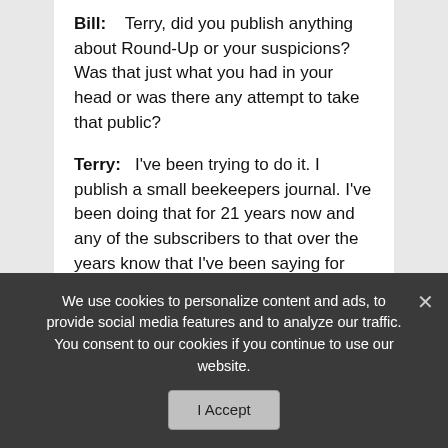Bill: Terry, did you publish anything about Round-Up or your suspicions? Was that just what you had in your head or was there any attempt to take that public?
Terry: I've been trying to do it. I publish a small beekeepers journal. I've been doing that for 21 years now and any of the subscribers to that over the years know that I've been saying for years that an untrained and unknowledgeable inspector would confuse the two– the chilled brood and foulbrood. They'd call them the same. And so they would come in and accuse me of having foulbrood. And that can be followed through my magazine. I did a paper on Round-Up
We use cookies to personalize content and ads, to provide social media features and to analyze our traffic. You consent to our cookies if you continue to use our website.